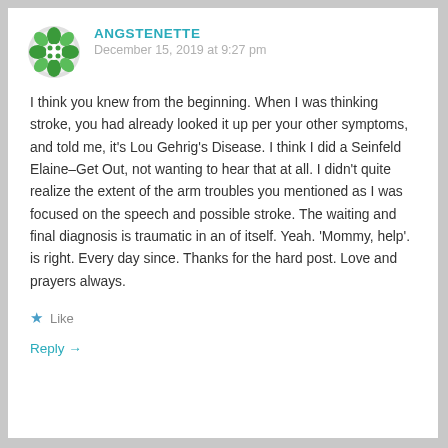ANGSTENETTE
December 15, 2019 at 9:27 pm
I think you knew from the beginning. When I was thinking stroke, you had already looked it up per your other symptoms, and told me, it's Lou Gehrig's Disease. I think I did a Seinfeld Elaine–Get Out, not wanting to hear that at all. I didn't quite realize the extent of the arm troubles you mentioned as I was focused on the speech and possible stroke. The waiting and final diagnosis is traumatic in an of itself. Yeah. 'Mommy, help'. is right. Every day since. Thanks for the hard post. Love and prayers always.
Like
Reply →